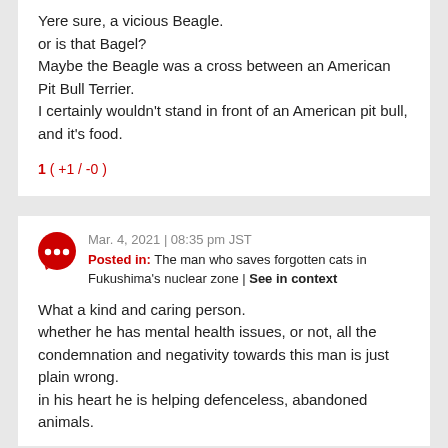Yere sure, a vicious Beagle.
or is that Bagel?
Maybe the Beagle was a cross between an American Pit Bull Terrier.
I certainly wouldn't stand in front of an American pit bull, and it's food.
1 ( +1 / -0 )
Mar. 4, 2021 | 08:35 pm JST
Posted in: The man who saves forgotten cats in Fukushima's nuclear zone | See in context
What a kind and caring person.
whether he has mental health issues, or not, all the condemnation and negativity towards this man is just plain wrong.
in his heart he is helping defenceless, abandoned animals.